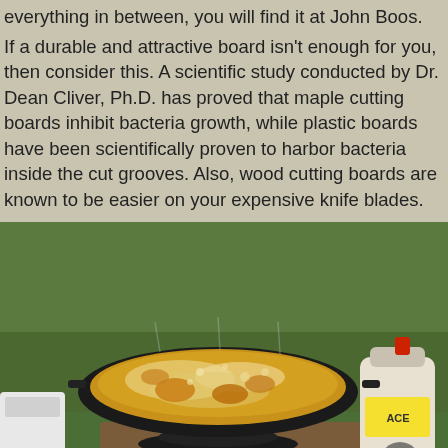everything in between, you will find it at John Boos.
If a durable and attractive board isn't enough for you, then consider this. A scientific study conducted by Dr. Dean Cliver, Ph.D. has proved that maple cutting boards inhibit bacteria growth, while plastic boards have been scientifically proven to harbor bacteria inside the cut grooves. Also, wood cutting boards are known to be easier on your expensive knife blades.
[Figure (photo): Outdoor cooking scene showing a large black wok/pan with food frying in bubbling oil, placed on a portable propane burner stand. A white propane tank with a red valve is visible on the right side. Green grass is visible in the background. A circular navigation button is visible in the bottom right corner of the image.]